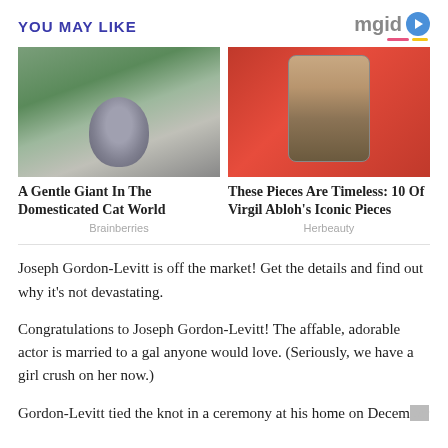YOU MAY LIKE
[Figure (photo): Gray cat sitting outdoors in green foliage, looking upward]
A Gentle Giant In The Domesticated Cat World
Brainberries
[Figure (photo): Mona Lisa printed on fabric/clothing against a red background]
These Pieces Are Timeless: 10 Of Virgil Abloh's Iconic Pieces
Herbeauty
Joseph Gordon-Levitt is off the market! Get the details and find out why it's not devastating.
Congratulations to Joseph Gordon-Levitt! The affable, adorable actor is married to a gal anyone would love. (Seriously, we have a girl crush on her now.)
Gordon-Levitt tied the knot in a ceremony at his home on December